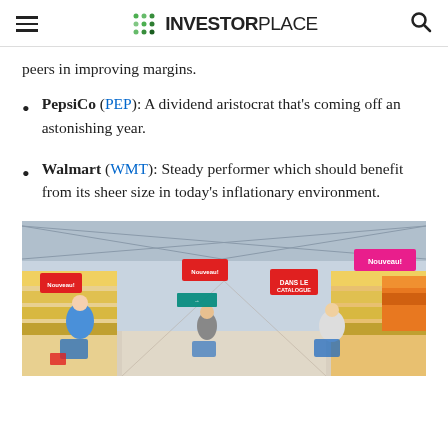INVESTORPLACE
peers in improving margins.
PepsiCo (PEP): A dividend aristocrat that's coming off an astonishing year.
Walmart (WMT): Steady performer which should benefit from its sheer size in today's inflationary environment.
[Figure (photo): Interior of a large supermarket/hypermarket with shoppers pushing carts through wide aisles lined with colorful products and red promotional signs reading 'Nouveau!'. The store has a high industrial ceiling with metal trusses.]